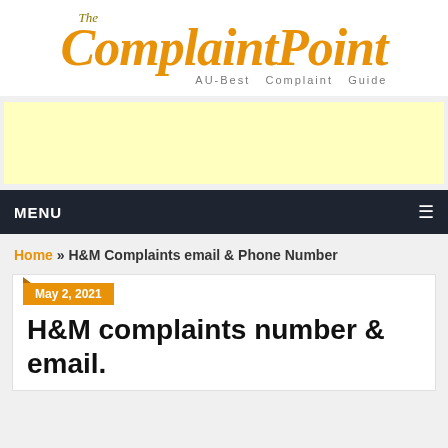[Figure (logo): The ComplaintPoint logo with orange script text and subtitle 'AU-Best Complaint Guide']
[Figure (other): Yellow advertisement banner placeholder]
MENU ≡
Home » H&M Complaints email & Phone Number
May 2, 2021
H&M complaints number & email.